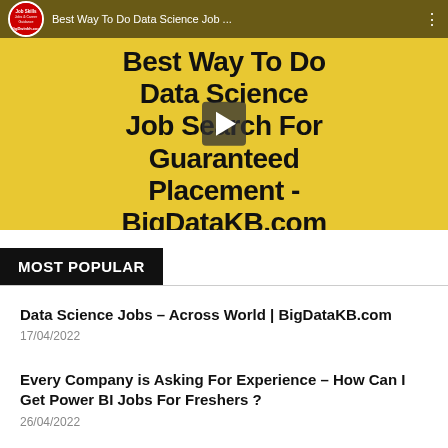[Figure (screenshot): YouTube video thumbnail showing 'Best Way To Do Data Science Job Search For Guaranteed Placement - BigDataKB.com' on a yellow/gold background with a play button overlay and dark top bar with channel icon and video title]
MOST POPULAR
Data Science Jobs – Across World | BigDataKB.com
17/04/2022
Every Company is Asking For Experience – How Can I Get Power BI Jobs For Freshers ?
26/04/2022